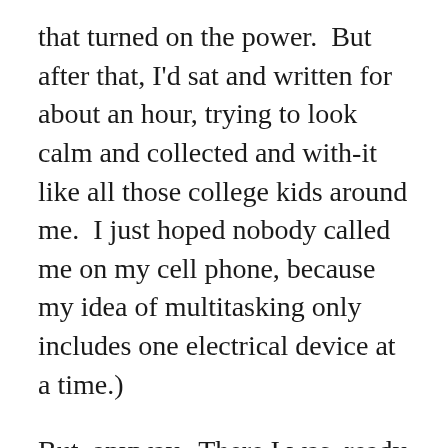that turned on the power.  But after that, I'd sat and written for about an hour, trying to look calm and collected and with-it like all those college kids around me.  I just hoped nobody called me on my cell phone, because my idea of multitasking only includes one electrical device at a time.)
But, anyway.  There I was, ready to hurtle out of the house with my new laptop.  I decided to give it another tiny test run before I left.  I turned on the power button, which I located rather quickly, and nothing happened.  The battery had run down.  So I hurtled out of the house with my usual notetaking tools: a pen and paper.  At least Kathy was impressed that I know how to take shorthand.
All this existing trauma, and here somebody's